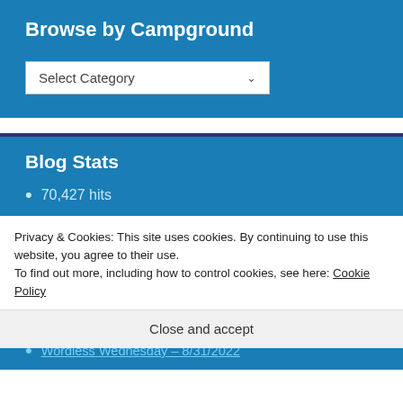Browse by Campground
[Figure (screenshot): A dropdown select box labeled 'Select Category' with a down arrow on a blue background]
Blog Stats
70,427 hits
Privacy & Cookies: This site uses cookies. By continuing to use this website, you agree to their use.
To find out more, including how to control cookies, see here: Cookie Policy
Close and accept
Wordless Wednesday – 8/31/2022